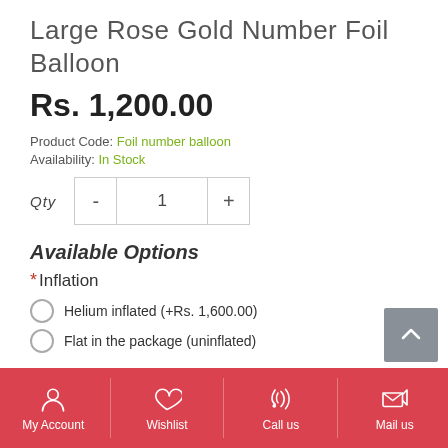Large Rose Gold Number Foil Balloon
Rs. 1,200.00
Product Code: Foil number balloon
Availability: In Stock
Qty  -  1  +
Available Options
* Inflation
Helium inflated (+Rs. 1,600.00)
Flat in the package (uninflated)
My Account  Wishlist  Call us  Mail us